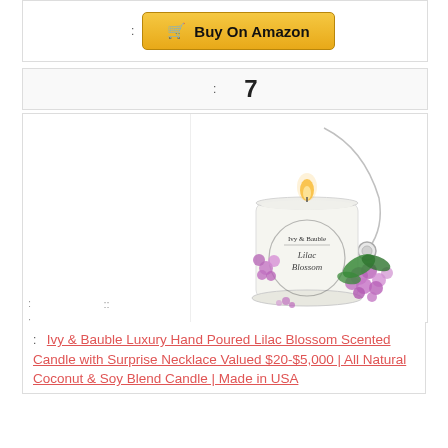[Figure (screenshot): Buy On Amazon button with cart icon, golden/yellow color]
: 7
[Figure (photo): Ivy & Bauble Luxury Hand Poured Lilac Blossom Scented Candle in a glass jar with purple lilac flowers and a silver necklace draped over it]
:
: Ivy & Bauble Luxury Hand Poured Lilac Blossom Scented Candle with Surprise Necklace Valued $20-$5,000 | All Natural Coconut & Soy Blend Candle | Made in USA